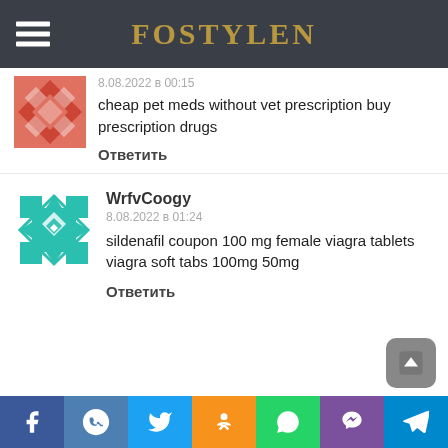FOSTYLEN
8.08.2022 в 00:15
чeap pet meds without vet prescription buy prescription drugs
Ответить
WrfvCoogy
8.08.2022 в 01:24
sildenafil coupon 100 mg female viagra tablets viagra soft tabs 100mg 50mg
Ответить
f ВК Twitter Одноклассники WhatsApp Viber Telegram